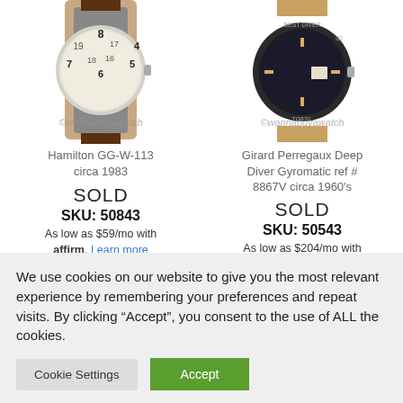[Figure (photo): Hamilton GG-W-113 watch circa 1983 with dark brown leather strap, silver case, cream dial with Arabic numerals, watermark 'wannabuyawatch']
Hamilton GG-W-113 circa 1983
SOLD
SKU: 50843
As low as $59/mo with affirm. Learn more
[Figure (photo): Girard Perregaux Deep Diver Gyromatic ref #8867V circa 1960's with tan NATO strap, dark blue bezel and dial, watermark 'wannabuyawatch']
Girard Perregaux Deep Diver Gyromatic ref # 8867V circa 1960's
SOLD
SKU: 50543
As low as $204/mo with affirm. Learn more
We use cookies on our website to give you the most relevant experience by remembering your preferences and repeat visits. By clicking “Accept”, you consent to the use of ALL the cookies.